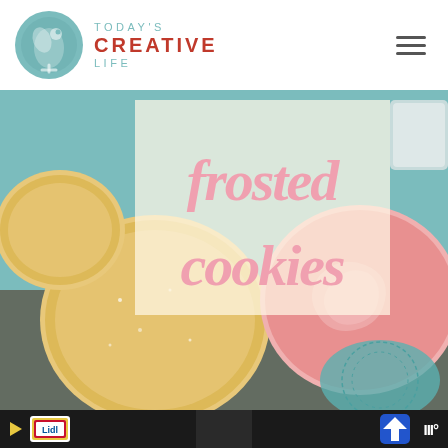[Figure (logo): Today's Creative Life logo — circular teal bird icon on the left, with 'TODAY'S CREATIVE LIFE' text in teal/red on the right]
[Figure (photo): Close-up photo of frosted sugar cookies on a teal plate with a doily. Plain cookies on the left, pink frosted cookies on the right. A semi-transparent overlay box contains the text 'frosted cookies' in pink script font.]
[Figure (screenshot): Black advertisement bar at the bottom with a yellow play button, Lidl logo, a navigation/turn icon in blue, and weather widget showing temperature in white.]